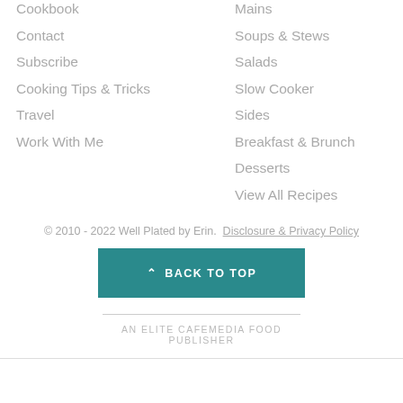Cookbook
Contact
Subscribe
Cooking Tips & Tricks
Travel
Work With Me
Mains
Soups & Stews
Salads
Slow Cooker
Sides
Breakfast & Brunch
Desserts
View All Recipes
© 2010 - 2022 Well Plated by Erin. Disclosure & Privacy Policy
BACK TO TOP
AN ELITE CAFEMEDIA FOOD PUBLISHER